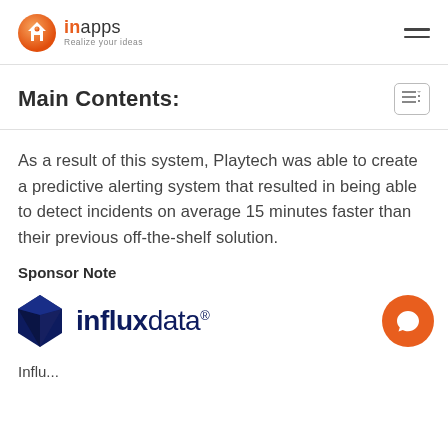inapps - Realize your ideas
Main Contents:
As a result of this system, Playtech was able to create a predictive alerting system that resulted in being able to detect incidents on average 15 minutes faster than their previous off-the-shelf solution.
Sponsor Note
[Figure (logo): InfluxData logo with dark blue geometric gem icon and influxdata wordmark with registered trademark symbol]
Influ...